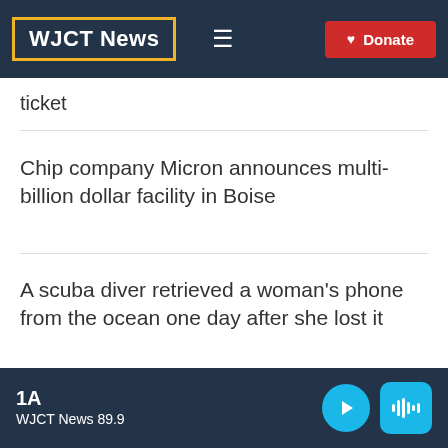WJCT News
ticket
Chip company Micron announces multi-billion dollar facility in Boise
A scuba diver retrieved a woman's phone from the ocean one day after she lost it
1A WJCT News 89.9